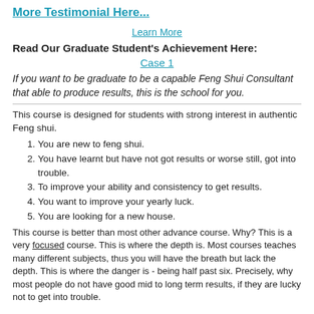More Testimonial Here...
Learn More
Read Our Graduate Student's Achievement Here:
Case 1
If you want to be graduate to be a capable Feng Shui Consultant that able to produce results, this is the school for you.
This course is designed for students with strong interest in authentic Feng shui.
You are new to feng shui.
You have learnt but have not got results or worse still, got into trouble.
To improve your ability and consistency to get results.
You want to improve your yearly luck.
You are looking for a new house.
This course is better than most other advance course. Why? This is a very focused course. This is where the depth is. Most courses teaches many different subjects, thus you will have the breath but lack the depth. This is where the danger is - being half past six. Precisely, why most people do not have good mid to long term results, if they are lucky not to get into trouble.